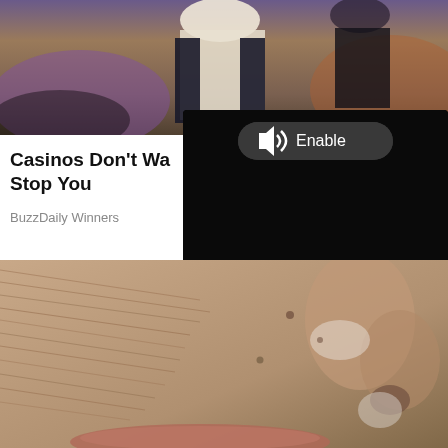[Figure (photo): Top portion of a webpage showing a person in formal attire at what appears to be an event, with decorative carpet visible]
Casinos Don't Wa Stop You
BuzzDaily Winners
[Figure (screenshot): Video player overlay with dark background, Enable audio button at top, Loading progress indicator with dots at bottom]
5 seconds...
[Figure (photo): Extreme close-up of aged human skin showing wrinkles and texture on a face, with lips visible at bottom]